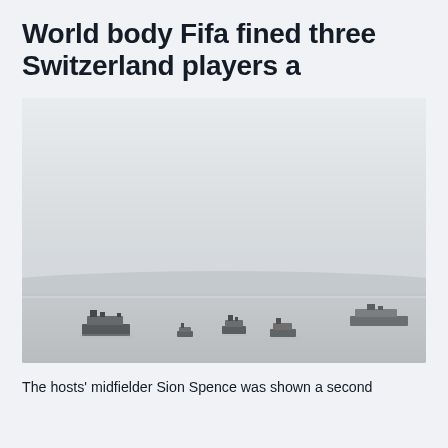World body Fifa fined three Switzerland players a
[Figure (photo): Misty harbor scene with several ships and boats visible through fog, with a low hillside in the background. The scene is very hazy and gray-toned.]
The hosts' midfielder Sion Spence was shown a second